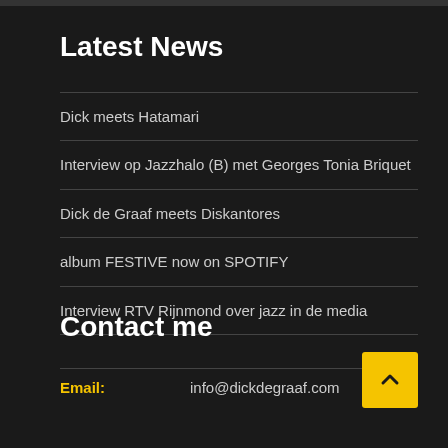Latest News
Dick meets Hatamari
Interview op Jazzhalo (B) met Georges Tonia Briquet
Dick de Graaf meets Diskantores
album FESTIVE now on SPOTIFY
Interview RTV Rijnmond over jazz in de media
Contact me
Email: info@dickdegraaf.com